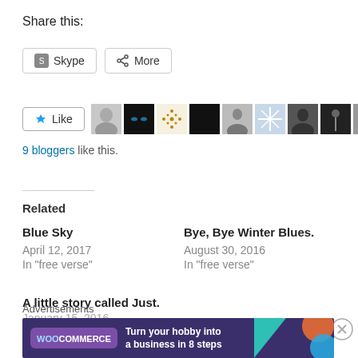Share this:
[Figure (screenshot): Social share buttons: Skype and More]
[Figure (screenshot): Like button with 9 blogger avatars]
9 bloggers like this.
Related
Blue Sky
April 12, 2017
In "free verse"
Bye, Bye Winter Blues.
August 30, 2016
In "free verse"
A little story called Just.
January 15, 2016
Advertisements
[Figure (screenshot): WooCommerce advertisement banner: Turn your hobby into a business in 8 steps]